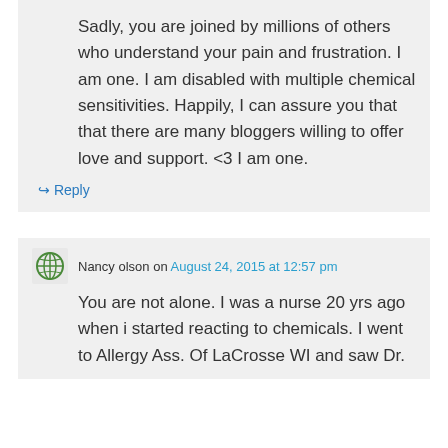Sadly, you are joined by millions of others who understand your pain and frustration. I am one. I am disabled with multiple chemical sensitivities. Happily, I can assure you that that there are many bloggers willing to offer love and support. <3 I am one.
↳ Reply
Nancy olson on August 24, 2015 at 12:57 pm
You are not alone. I was a nurse 20 yrs ago when i started reacting to chemicals. I went to Allergy Ass. Of LaCrosse WI and saw Dr.